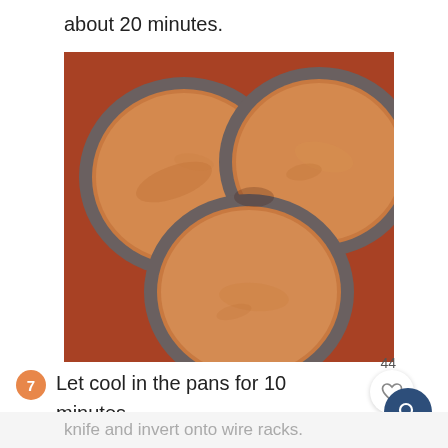about 20 minutes.
[Figure (photo): Three round cake pans filled with orange-brown batter, viewed from above on a reddish-brown surface.]
44
7  Let cool in the pans for 10 minutes, then loosen the edges with a sharp
knife and invert onto wire racks.